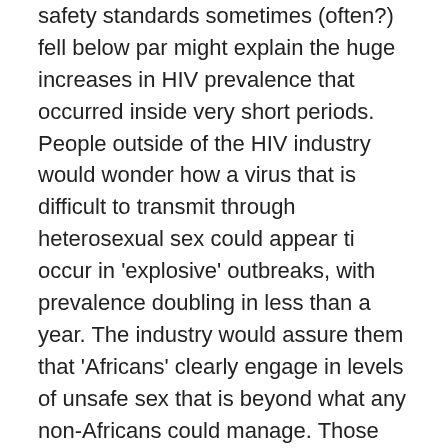safety standards sometimes (often?) fell below par might explain the huge increases in HIV prevalence that occurred inside very short periods. People outside of the HIV industry would wonder how a virus that is difficult to transmit through heterosexual sex could appear ti occur in 'explosive' outbreaks, with prevalence doubling in less than a year. The industry would assure them that 'Africans' clearly engage in levels of unsafe sex that is beyond what any non-Africans could manage. Those whose prejudices already matched those of the HIV institutions accepted this explanation. Anyone who continued to question such a racist view of HIV was accused of denialism and shunned by their professional colleagues (unless they didn't have any professional colleagues, or a profession).
Much of the evidence collected over the last 30 years, even evidence collected by the HIV industry itself, points